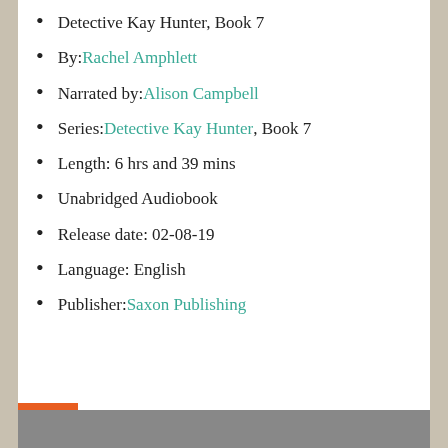Detective Kay Hunter, Book 7
By: Rachel Amphlett
Narrated by: Alison Campbell
Series: Detective Kay Hunter, Book 7
Length: 6 hrs and 39 mins
Unabridged Audiobook
Release date: 02-08-19
Language: English
Publisher: Saxon Publishing